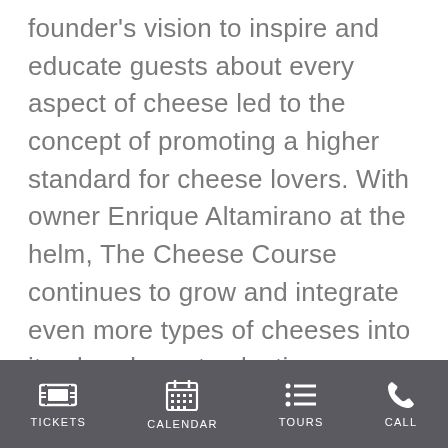founder's vision to inspire and educate guests about every aspect of cheese led to the concept of promoting a higher standard for cheese lovers. With owner Enrique Altamirano at the helm, The Cheese Course continues to grow and integrate even more types of cheeses into its already vast selection.

“We want to transform the typical cheese eater’s standards,” said Altamirano. “Instead of having an outdated can of dry
TICKETS  CALENDAR  TOURS  CALL